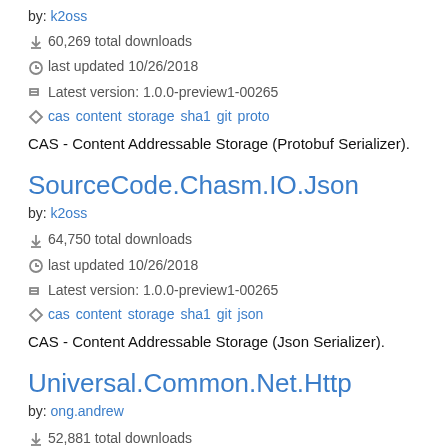SourceCode.Chasm.IO.Proto (truncated at top)
by: k2oss
60,269 total downloads
last updated 10/26/2018
Latest version: 1.0.0-preview1-00265
cas content storage sha1 git proto
CAS - Content Addressable Storage (Protobuf Serializer).
SourceCode.Chasm.IO.Json
by: k2oss
64,750 total downloads
last updated 10/26/2018
Latest version: 1.0.0-preview1-00265
cas content storage sha1 git json
CAS - Content Addressable Storage (Json Serializer).
Universal.Common.Net.Http
by: ong.andrew
52,881 total downloads